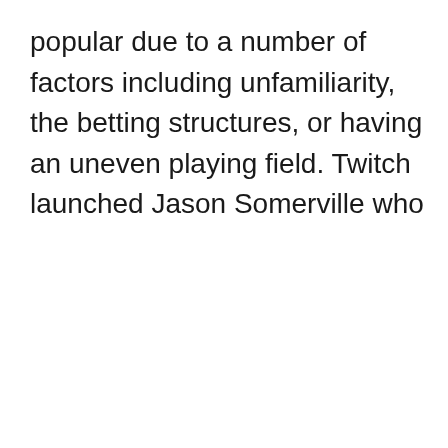popular due to a number of factors including unfamiliarity, the betting structures, or having an uneven playing field. Twitch launched Jason Somerville who